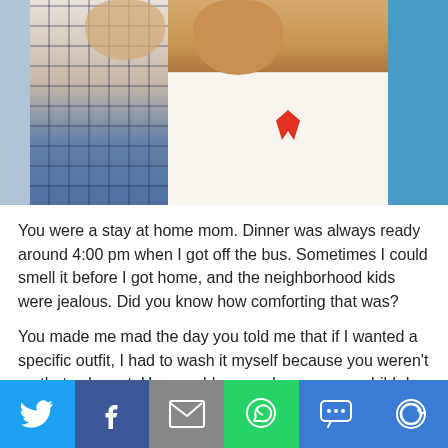[Figure (photo): A photo showing two people — an adult wearing a plaid/checkered blue shirt and a young child wearing a white sleeveless top with a red ribbon/bow. There is a blue background on the right side.]
You were a stay at home mom. Dinner was always ready around 4:00 pm when I got off the bus. Sometimes I could smell it before I got home, and the neighborhood kids were jealous. Did you know how comforting that was?
You made me mad the day you told me that if I wanted a specific outfit, I had to wash it myself because you weren't on that color yet. How could you make your own child do her laundry? And when I would rather talk on the phone or watch TV, you made me hand you ingredients in the kitchen.
[Figure (infographic): Social media share bar with six buttons: Twitter (blue bird icon), Facebook (blue f icon), Email (grey envelope icon), WhatsApp (green phone icon), SMS (blue speech bubble icon), More (blue circular arrows icon)]